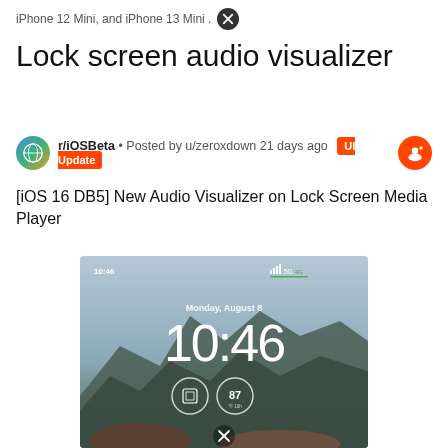iPhone 12 Mini, and iPhone 13 Mini .
Lock screen audio visualizer
r/iOSBeta • Posted by u/zeroxdown 21 days ago  UI Update
[iOS 16 DB5] New Audio Visualizer on Lock Screen Media Player
[Figure (screenshot): iOS lock screen showing time 10:46, date Monday August 8, with two circular icons below the time, on a mountain landscape wallpaper. A close button is visible at the bottom.]